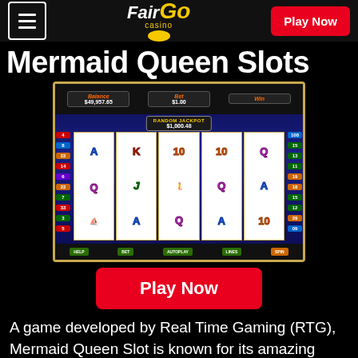Fair Go Casino — Play Now
Mermaid Queen Slots
[Figure (screenshot): Screenshot of Mermaid Queen slot machine game showing reels with card symbols (A, K, 10, Q, J), Balance $49,957.65, Bet $1.00, Win display, Random Jackpot $1,000.48, and game controls at bottom including HELP, BET, AUTOPLAY, LINES, SPIN buttons]
Play Now
A game developed by Real Time Gaming (RTG), Mermaid Queen Slot is known for its amazing graphical interface and